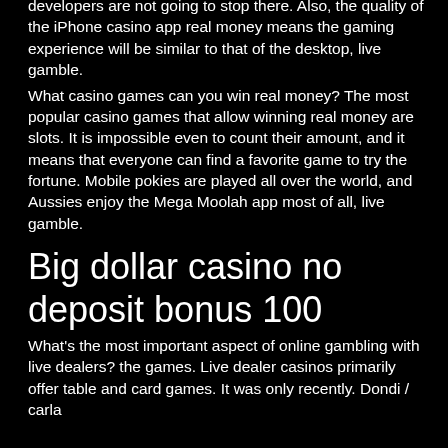developers are not going to stop there. Also, the quality of the iPhone casino app real money means the gaming experience will be similar to that of the desktop, live gamble.
What casino games can you win real money? The most popular casino games that allow winning real money are slots. It is impossible even to count their amount, and it means that everyone can find a favorite game to try the fortune. Mobile pokies are played all over the world, and Aussies enjoy the Mega Moolah app most of all, live gamble.
Big dollar casino no deposit bonus 100
What's the most important aspect of online gambling with live dealers? the games. Live dealer casinos primarily offer table and card games. It was only recently. Dondi / carla